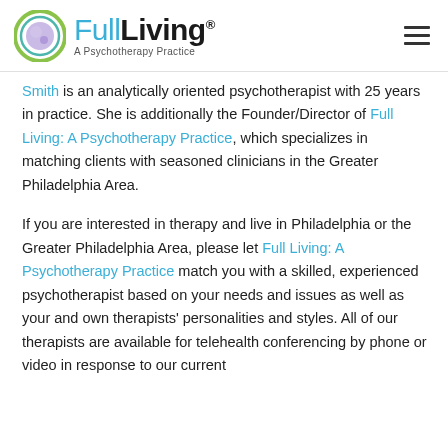Full Living: A Psychotherapy Practice
Smith is an analytically oriented psychotherapist with 25 years in practice. She is additionally the Founder/Director of Full Living: A Psychotherapy Practice, which specializes in matching clients with seasoned clinicians in the Greater Philadelphia Area.
If you are interested in therapy and live in Philadelphia or the Greater Philadelphia Area, please let Full Living: A Psychotherapy Practice match you with a skilled, experienced psychotherapist based on your needs and issues as well as your and own therapists' personalities and styles. All of our therapists are available for telehealth conferencing by phone or video in response to our current